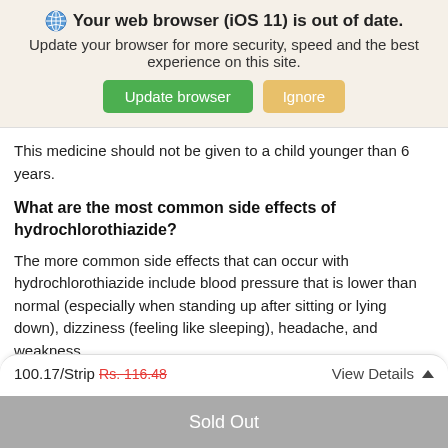[Figure (screenshot): Browser update notification banner with globe icon, bold warning title, subtitle text, green 'Update browser' button, and tan 'Ignore' button]
This medicine should not be given to a child younger than 6 years.
What are the most common side effects of hydrochlorothiazide?
The more common side effects that can occur with hydrochlorothiazide include blood pressure that is lower than normal (especially when standing up after sitting or lying down), dizziness (feeling like sleeping), headache, and weakness
100.17/Strip Rs. 116.48   View Details ▲
Sold Out